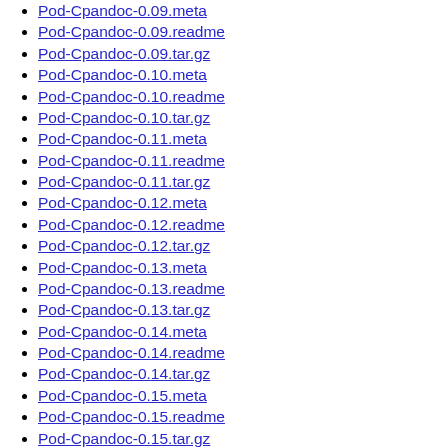Pod-Cpandoc-0.09.meta
Pod-Cpandoc-0.09.readme
Pod-Cpandoc-0.09.tar.gz
Pod-Cpandoc-0.10.meta
Pod-Cpandoc-0.10.readme
Pod-Cpandoc-0.10.tar.gz
Pod-Cpandoc-0.11.meta
Pod-Cpandoc-0.11.readme
Pod-Cpandoc-0.11.tar.gz
Pod-Cpandoc-0.12.meta
Pod-Cpandoc-0.12.readme
Pod-Cpandoc-0.12.tar.gz
Pod-Cpandoc-0.13.meta
Pod-Cpandoc-0.13.readme
Pod-Cpandoc-0.13.tar.gz
Pod-Cpandoc-0.14.meta
Pod-Cpandoc-0.14.readme
Pod-Cpandoc-0.14.tar.gz
Pod-Cpandoc-0.15.meta
Pod-Cpandoc-0.15.readme
Pod-Cpandoc-0.15.tar.gz
Pod-Cpandoc-0.16.meta
Pod-Cpandoc-0.16.readme
Pod-Cpandoc-0.16.tar.gz
Prompt-ReadKey-0.04.meta